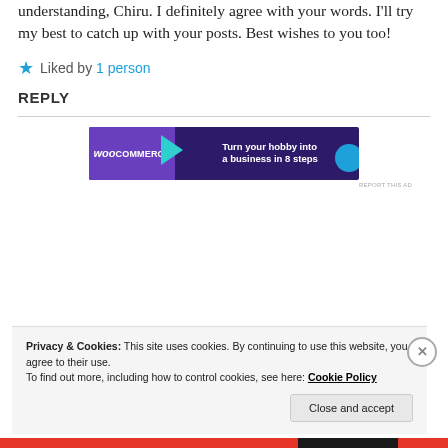understanding, Chiru. I definitely agree with your words. I'll try my best to catch up with your posts. Best wishes to you too!
★ Liked by 1 person
REPLY
[Figure (screenshot): WooCommerce advertisement banner: 'Turn your hobby into a business in 8 steps']
REPORT THIS AD
Privacy & Cookies: This site uses cookies. By continuing to use this website, you agree to their use. To find out more, including how to control cookies, see here: Cookie Policy
Close and accept